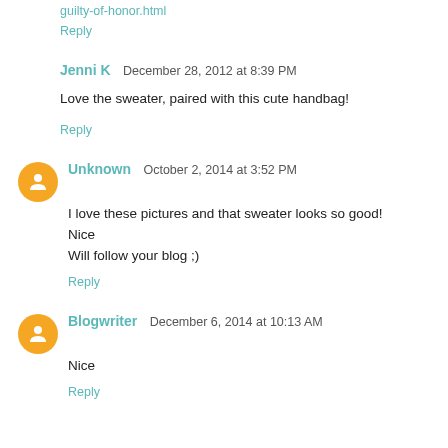guilty-of-honor.html
Reply
Jenni K  December 28, 2012 at 8:39 PM
Love the sweater, paired with this cute handbag!
Reply
Unknown  October 2, 2014 at 3:52 PM
I love these pictures and that sweater looks so good!
Nice
Will follow your blog ;)
Reply
Blogwriter  December 6, 2014 at 10:13 AM
Nice
Reply